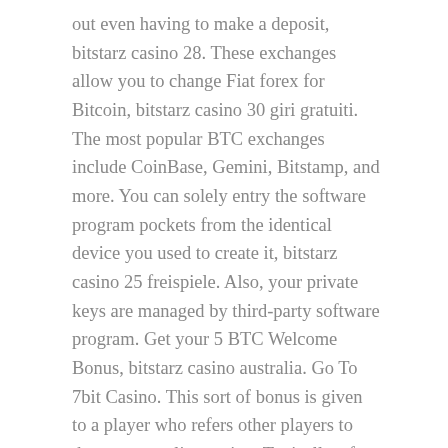out even having to make a deposit, bitstarz casino 28. These exchanges allow you to change Fiat forex for Bitcoin, bitstarz casino 30 giri gratuiti. The most popular BTC exchanges include CoinBase, Gemini, Bitstamp, and more. You can solely entry the software program pockets from the identical device you used to create it, bitstarz casino 25 freispiele. Also, your private keys are managed by third-party software program. Get your 5 BTC Welcome Bonus, bitstarz casino australia. Go To 7bit Casino. This sort of bonus is given to a player who refers other players to the crypto on line casino. Typically, after registering on a website, a referral code is automatically generated for the new participant, bitstarz casino australia. This might seem small at first, but accumulating them ought to be profitable, because the market worth also rises, bitstarz casino 30 бесплатные вращения. There are numerous Bitcoin taps on the internet these days which declare to pay the